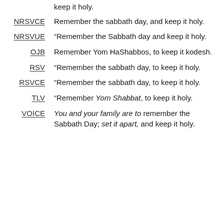keep it holy.
NRSVCE Remember the sabbath day, and keep it holy.
NRSVUE “Remember the Sabbath day and keep it holy.
OJB Remember Yom HaShabbos, to keep it kodesh.
RSV “Remember the sabbath day, to keep it holy.
RSVCE “Remember the sabbath day, to keep it holy.
TLV “Remember Yom Shabbat, to keep it holy.
VOICE You and your family are to remember the Sabbath Day; set it apart, and keep it holy.